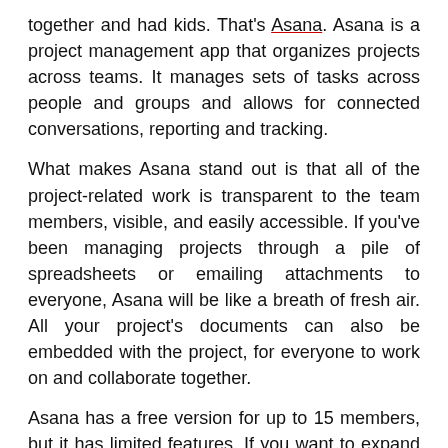together and had kids. That's Asana. Asana is a project management app that organizes projects across teams. It manages sets of tasks across people and groups and allows for connected conversations, reporting and tracking.
What makes Asana stand out is that all of the project-related work is transparent to the team members, visible, and easily accessible. If you've been managing projects through a pile of spreadsheets or emailing attachments to everyone, Asana will be like a breath of fresh air. All your project's documents can also be embedded with the project, for everyone to work on and collaborate together.
Asana has a free version for up to 15 members, but it has limited features. If you want to expand beyond 15 people to large teams, SSO, custom fields, specialty dashboards, and the rest of the project management kitchen sink, Asana runs $9.99 a month. There's also an enterprise version if you need to go really big.